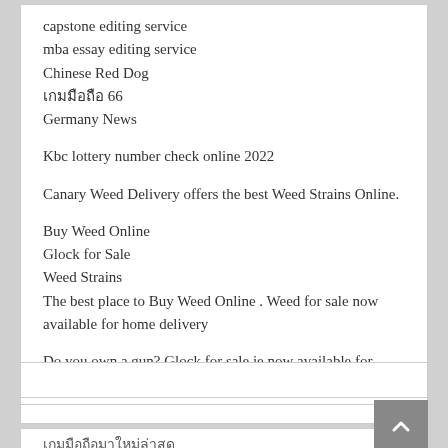capstone editing service
mba essay editing service
Chinese Red Dog
เกมมือถือ 66
Germany News
Kbc lottery number check online 2022
Canary Weed Delivery offers the best Weed Strains Online.
Buy Weed Online
Glock for Sale
Weed Strains
The best place to Buy Weed Online . Weed for sale now available for home delivery
Do you own a gun? Glock for sale ie now available for purchase securely
เกมมือถือมาใหม่ล่าสุด